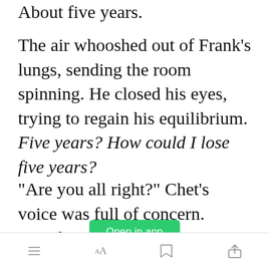About five years.
The air whooshed out of Frank's lungs, sending the room spinning. He closed his eyes, trying to regain his equilibrium. Five years? How could I lose five years?
"Are you all right?" Chet's voice was full of concern. "Frank?"
[Figure (screenshot): Green 'Open in app' button]
Frank slowly opened the...